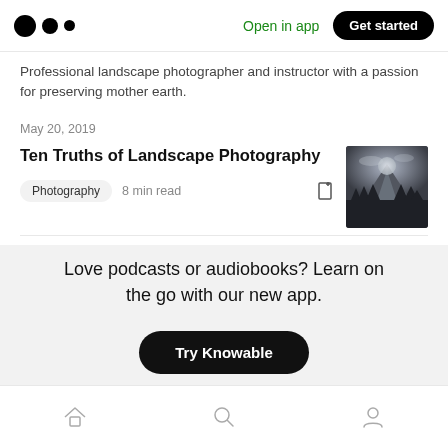Medium logo | Open in app | Get started
Professional landscape photographer and instructor with a passion for preserving mother earth.
May 20, 2019
Ten Truths of Landscape Photography
Photography  8 min read
[Figure (photo): Dramatic dark landscape photo of a mountain (Half Dome style) with pine trees in foreground and stormy sky]
Love podcasts or audiobooks? Learn on the go with our new app.
Try Knowable
Home | Search | Profile navigation icons